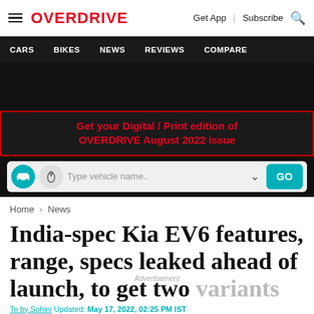OVERDRIVE | Get App | Subscribe
CARS   BIKES   NEWS   REVIEWS   COMPARE
[Figure (other): Dark advertisement banner area]
Get your Digital / Print edition of OVERDRIVE August 2022 issue
Type vehicle name.. GO
Home > News
India-spec Kia EV6 features, range, specs leaked ahead of launch, to get two variants